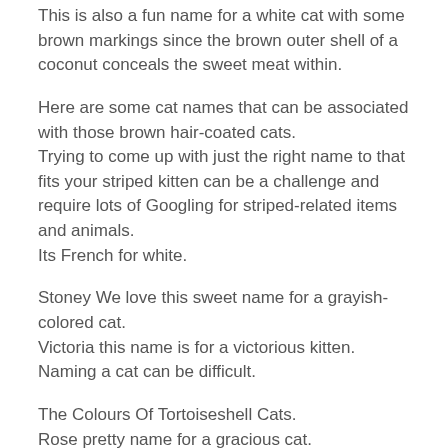This is also a fun name for a white cat with some brown markings since the brown outer shell of a coconut conceals the sweet meat within.
Here are some cat names that can be associated with those brown hair-coated cats.
Trying to come up with just the right name to that fits your striped kitten can be a challenge and require lots of Googling for striped-related items and animals.
Its French for white.
Stoney We love this sweet name for a grayish-colored cat.
Victoria this name is for a victorious kitten.
Naming a cat can be difficult.
The Colours Of Tortoiseshell Cats.
Rose pretty name for a gracious cat.
Coolwhip We would all be lucky to have a kitty cat as